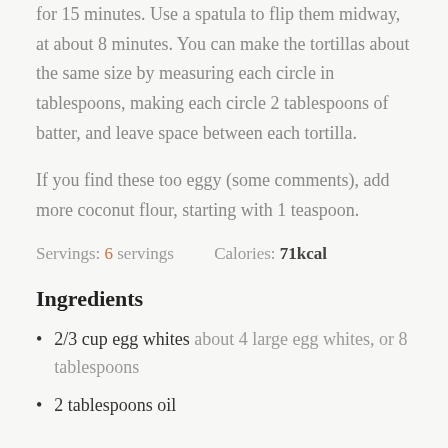for 15 minutes. Use a spatula to flip them midway, at about 8 minutes. You can make the tortillas about the same size by measuring each circle in tablespoons, making each circle 2 tablespoons of batter, and leave space between each tortilla.
If you find these too eggy (some comments), add more coconut flour, starting with 1 teaspoon.
Servings: 6 servings    Calories: 71kcal
Ingredients
2/3 cup egg whites about 4 large egg whites, or 8 tablespoons
2 tablespoons oil